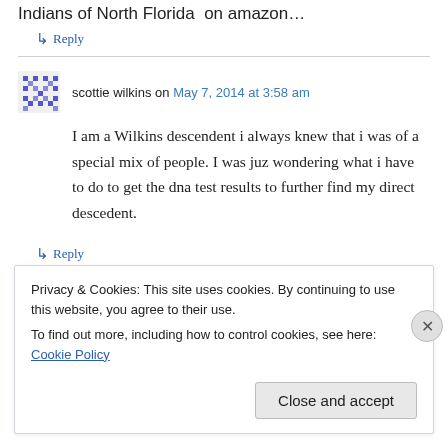Indians of North Florida  on amazon…
↳ Reply
scottie wilkins on May 7, 2014 at 3:58 am
I am a Wilkins descendent i always knew that i was of a special mix of people. I was juz wondering what i have to do to get the dna test results to further find my direct descedent.
↳ Reply
Privacy & Cookies: This site uses cookies. By continuing to use this website, you agree to their use.
To find out more, including how to control cookies, see here: Cookie Policy
Close and accept